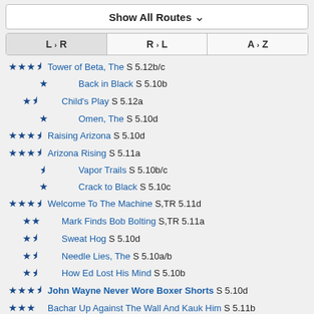Show All Routes ∨
| L › R | R › L | A › Z |
| --- | --- | --- |
★★★½ Tower of Beta, The S 5.12b/c
★ Back in Black S 5.10b
★★½ Child's Play S 5.12a
★ Omen, The S 5.10d
★★★½ Raising Arizona S 5.10d
★★★½ Arizona Rising S 5.11a
½ Vapor Trails S 5.10b/c
★ Crack to Black S 5.10c
★★★½ Welcome To The Machine S,TR 5.11d
★★ Mark Finds Bob Bolting S,TR 5.11a
★★½ Sweat Hog S 5.10d
★★½ Needle Lies, The S 5.10a/b
★★½ How Ed Lost His Mind S 5.10b
★★★½ John Wayne Never Wore Boxer Shorts S 5.10d
★★★ Bachar Up Against The Wall And Kauk Him S 5.11b
★★★½ Sticks and Stone May Break My Bones... T 5.9+
★★ E=mc^2 S 5.11c
★★★ Cactus Rose S 5.11+